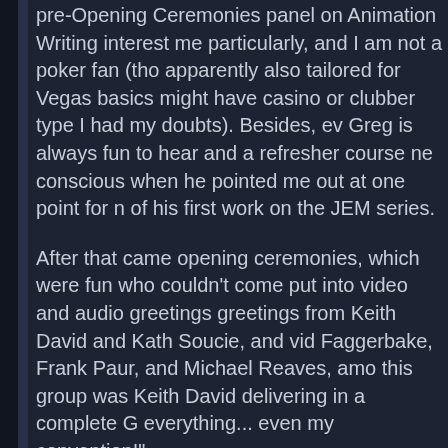pre-Opening Ceremonies panel on Animation Writing interest me particularly, and I am not a poker fan (though apparently also tailored for Vegas basics might have casino or clubber type I had my doubts). Besides, even Greg is always fun to hear and a refresher course ne conscious when he pointed me out at one point for of his first work on the JEM series.
After that came opening ceremonies, which were fun who couldn't come put into video and audio greetings greetings from Keith David and Kath Soucie, and vid Faggerbake, Frank Paur, and Michael Reaves, among this group was Keith David delivering in a complete everything... even my convention!"
This was followed with a series of videos shown by G yearly and some of which are new. One was a GARG the well known one now on the DVD, actually narrate staple Jim Cummings. The other was the hard work auction for the storyboard, voice track, and script to Last" which has GARGOYLES-related connections, existing material to give a taste of what might have b